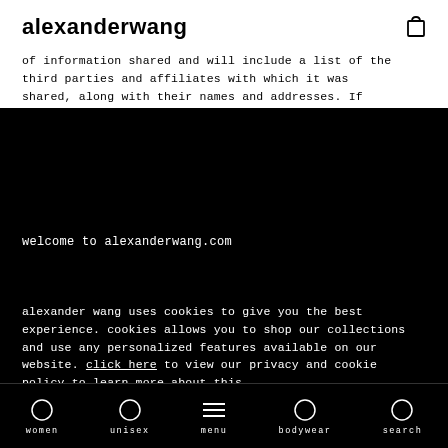alexanderwang
of information shared and will include a list of the third parties and affiliates with which it was shared, along with their names and addresses. If
welcome to alexanderwang.com
alexander wang uses cookies to give you the best experience. cookies allows you to shop our collections and use any personalized features available on our website. click here to view our privacy and cookie policy to learn more about this.
close
women   unisex   menu   bodywear   search